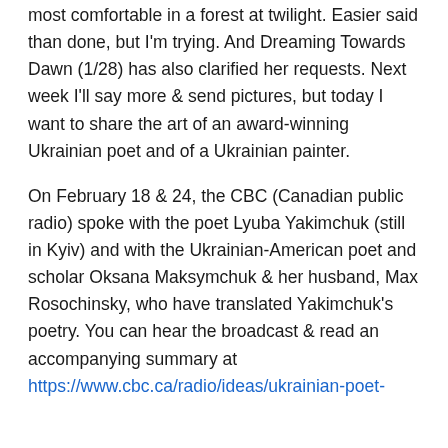most comfortable in a forest at twilight. Easier said than done, but I'm trying. And Dreaming Towards Dawn (1/28) has also clarified her requests. Next week I'll say more & send pictures, but today I want to share the art of an award-winning Ukrainian poet and of a Ukrainian painter.
On February 18 & 24, the CBC (Canadian public radio) spoke with the poet Lyuba Yakimchuk (still in Kyiv) and with the Ukrainian-American poet and scholar Oksana Maksymchuk & her husband, Max Rosochinsky, who have translated Yakimchuk's poetry. You can hear the broadcast & read an accompanying summary at https://www.cbc.ca/radio/ideas/ukrainian-poet-